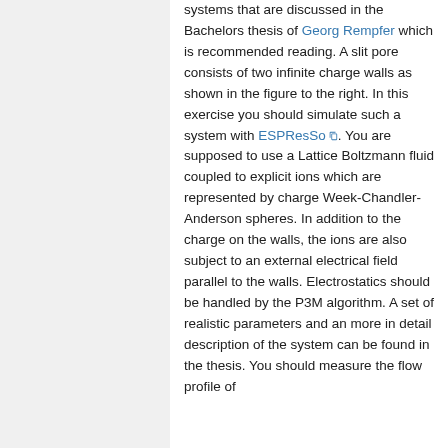systems that are discussed in the Bachelors thesis of Georg Rempfer which is recommended reading. A slit pore consists of two infinite charge walls as shown in the figure to the right. In this exercise you should simulate such a system with ESPResSo. You are supposed to use a Lattice Boltzmann fluid coupled to explicit ions which are represented by charge Week-Chandler-Anderson spheres. In addition to the charge on the walls, the ions are also subject to an external electrical field parallel to the walls. Electrostatics should be handled by the P3M algorithm. A set of realistic parameters and an more in detail description of the system can be found in the thesis. You should measure the flow profile of